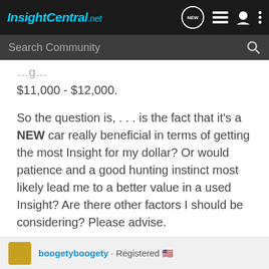InsightCentral.net
$11,000 - $12,000.
So the question is, . . . is the fact that it's a NEW car really beneficial in terms of getting the most Insight for my dollar? Or would patience and a good hunting instinct most likely lead me to a better value in a used Insight? Are there other factors I should be considering? Please advise.
Best Regs,
Rick
boogetyboogety · Registered 🇺🇸